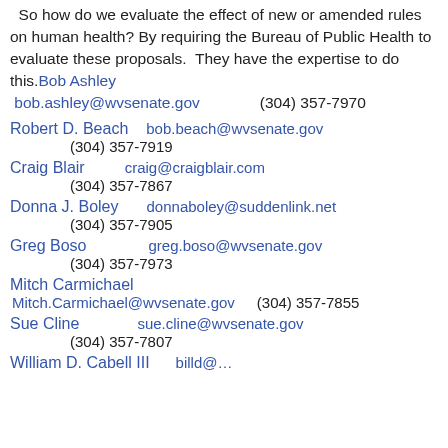So how do we evaluate the effect of new or amended rules on human health? By requiring the Bureau of Public Health to evaluate these proposals. They have the expertise to do this. Bob Ashley bob.ashley@wvsenate.gov (304) 357-7970
Robert D. Beach   bob.beach@wvsenate.gov   (304) 357-7919
Craig Blair   craig@craigblair.com   (304) 357-7867
Donna J. Boley   donnaboley@suddenlink.net   (304) 357-7905
Greg Boso   greg.boso@wvsenate.gov   (304) 357-7973
Mitch Carmichael   Mitch.Carmichael@wvsenate.gov   (304) 357-7855
Sue Cline   sue.cline@wvsenate.gov   (304) 357-7807
William D. Cabell III   billd@...